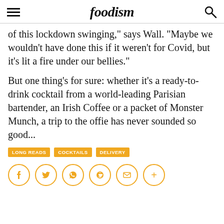foodism
of this lockdown swinging," says Wall. "Maybe we wouldn't have done this if it weren't for Covid, but it's lit a fire under our bellies."
But one thing's for sure: whether it's a ready-to-drink cocktail from a world-leading Parisian bartender, an Irish Coffee or a packet of Monster Munch, a trip to the offie has never sounded so good...
LONG READS
COCKTAILS
DELIVERY